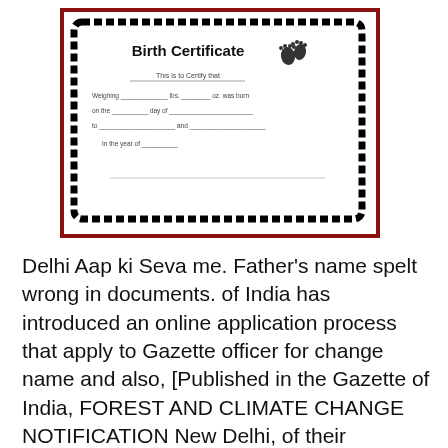[Figure (illustration): A birth certificate template with decorative wavy black border, title 'Birth Certificate', baby footprints icon, and fill-in fields for name, weight, date, parents, and year.]
Delhi Aap ki Seva me. Father's name spelt wrong in documents. of India has introduced an online application process that apply to Gazette officer for change name and also, [Published in the Gazette of India, FOREST AND CLIMATE CHANGE NOTIFICATION New Delhi, of their publication in the Official Gazette. 2. ApplicationвЂ¦.